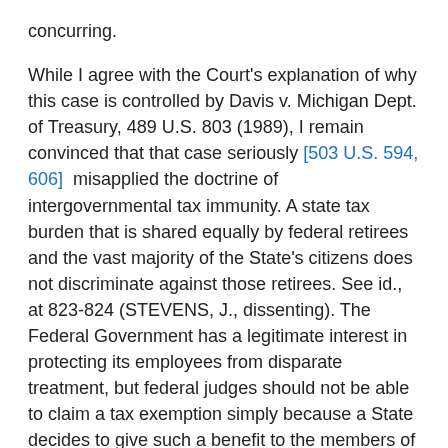concurring.
While I agree with the Court's explanation of why this case is controlled by Davis v. Michigan Dept. of Treasury, 489 U.S. 803 (1989), I remain convinced that that case seriously [503 U.S. 594, 606] misapplied the doctrine of intergovernmental tax immunity. A state tax burden that is shared equally by federal retirees and the vast majority of the State's citizens does not discriminate against those retirees. See id., at 823-824 (STEVENS, J., dissenting). The Federal Government has a legitimate interest in protecting its employees from disparate treatment, but federal judges should not be able to claim a tax exemption simply because a State decides to give such a benefit to the members of its judiciary instead of raising their salaries. I write separately to make this point because what I regard as this Court's [perverse] application of the nondiscrimination principle is subject to review and correction by Congress. See Prudential Insurance Co. v.